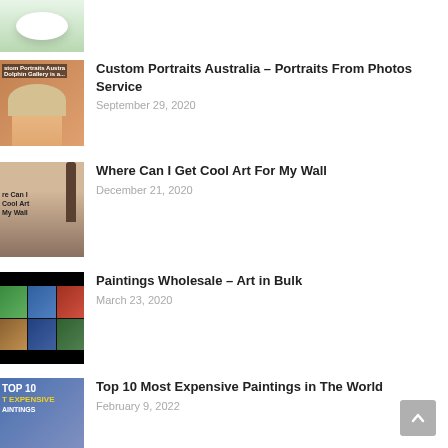[Figure (photo): Partial view of a white bowl on green background]
[Figure (photo): Thumbnail for Custom Portraits Australia showing a smiling blonde person]
Custom Portraits Australia – Portraits From Photos Service
September 29, 2020
[Figure (photo): Thumbnail for Where Can I Get Cool Art For My Wall showing wall art]
Where Can I Get Cool Art For My Wall
December 21, 2020
[Figure (photo): Thumbnail for Paintings Wholesale showing colorful paintings grid on black background]
Paintings Wholesale – Art in Bulk
March 23, 2020
[Figure (photo): Thumbnail for Top 10 Most Expensive Paintings with TOP 10 text overlay]
Top 10 Most Expensive Paintings in The World
February 9, 2022